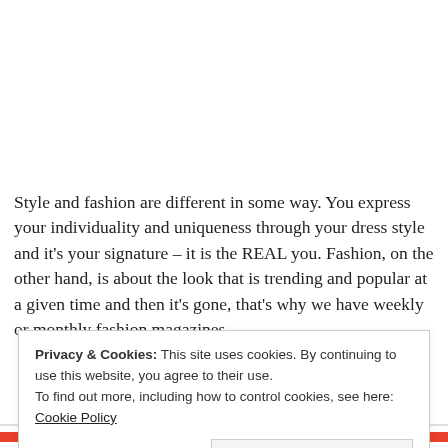Style and fashion are different in some way. You express your individuality and uniqueness through your dress style and it's your signature – it is the REAL you. Fashion, on the other hand, is about the look that is trending and popular at a given time and then it's gone, that's why we have weekly or monthly fashion magazines.
Privacy & Cookies: This site uses cookies. By continuing to use this website, you agree to their use.
To find out more, including how to control cookies, see here: Cookie Policy
Close and accept